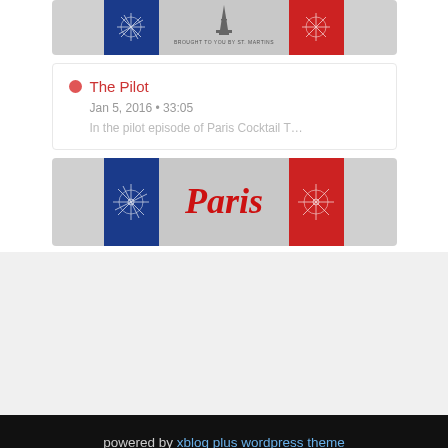[Figure (screenshot): Top portion of a podcast app screenshot showing a Paris Cocktail Talk podcast banner with French flag colors]
The Pilot
Jan 5, 2016 • 33:05
In the pilot episode of Paris Cocktail T…
[Figure (screenshot): Paris Cocktail Talk podcast logo with French flag tiles and cursive Paris text in red]
powered by xblog plus wordpress theme